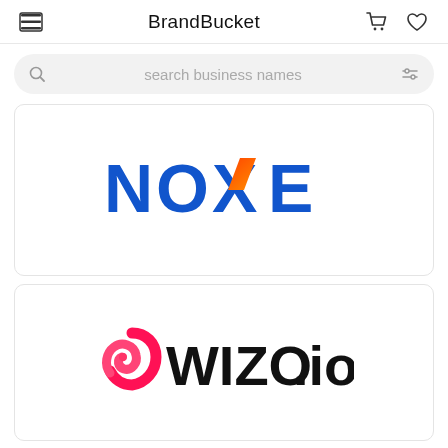BrandBucket
search business names
[Figure (logo): NOXE logo — bold blue letters with orange-red chevron accent on the X]
[Figure (logo): WIZO.io logo — pink-red swirl icon with bold black text WIZO.io]